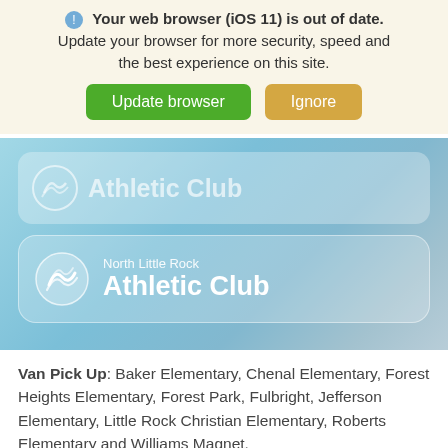[Figure (screenshot): Browser out-of-date warning bar with icon text 'Your web browser (iOS 11) is out of date. Update your browser for more security, speed and the best experience on this site.' with two buttons: 'Update browser' (green) and 'Ignore' (tan/gold).]
[Figure (screenshot): Gradient blue-teal banner area showing two Athletic Club logo rows. First row is partially obscured/faded. Second row shows 'North Little Rock Athletic Club' logo with circular wave icon on a semi-transparent white rounded rectangle.]
Van Pick Up: Baker Elementary, Chenal Elementary, Forest Heights Elementary, Forest Park, Fulbright, Jefferson Elementary, Little Rock Christian Elementary, Roberts Elementary and Williams Magnet.
Additionals: You can add junior tennis and/or swim (lessons or team) for an extra fee.